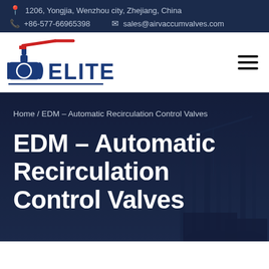1206, Yongjia, Wenzhou city, Zhejiang, China
+86-577-66965398   sales@airvaccumvalves.com
[Figure (logo): Elite valve company logo with red and blue industrial valve graphic and ELITE text in blue]
Home / EDM – Automatic Recirculation Control Valves
EDM – Automatic Recirculation Control Valves